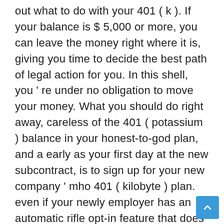out what to do with your 401 ( k ). If your balance is $ 5,000 or more, you can leave the money right where it is, giving you time to decide the best path of legal action for you. In this shell, you ' re under no obligation to move your money. What you should do right away, careless of the 401 ( potassium ) balance in your honest-to-god plan, and a early as your first day at the new subcontract, is to sign up for your new company ' mho 401 ( kilobyte ) plan. even if your newly employer has an automatic rifle opt-in feature that does not kick in for one to three months — and if you rely on that, quite than taking the inaugural — you can miss 30 to 90 days of contributions and matching funds, Bogosian advises. After six months, you ' ve got a handle on